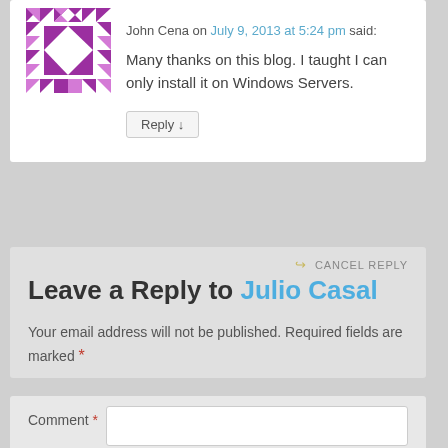[Figure (illustration): Geometric purple and white quilt-pattern avatar icon for user John Cena]
John Cena on July 9, 2013 at 5:24 pm said:
Many thanks on this blog. I taught I can only install it on Windows Servers.
Reply ↓
CANCEL REPLY
Leave a Reply to Julio Casal
Your email address will not be published. Required fields are marked *
Comment *